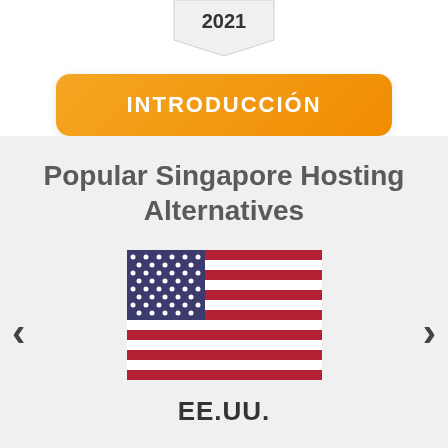[Figure (other): Orange badge/tag shape with '2021' text pointing downward]
INTRODUCCIÓN
Popular Singapore Hosting Alternatives
[Figure (illustration): US flag (American flag) illustration with stars and stripes]
EE.UU.